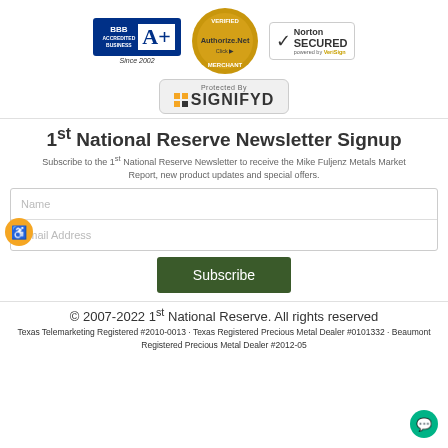[Figure (logo): BBB Accredited Business A+ Since 2002 badge]
[Figure (logo): Authorize.Net Verified Merchant Click badge]
[Figure (logo): Norton Secured powered by VeriSign badge]
[Figure (logo): Protected By SIGNIFYD badge]
1st National Reserve Newsletter Signup
Subscribe to the 1st National Reserve Newsletter to receive the Mike Fuljenz Metals Market Report, new product updates and special offers.
Name
Email Address
Subscribe
© 2007-2022 1st National Reserve. All rights reserved
Texas Telemarketing Registered #2010-0013 · Texas Registered Precious Metal Dealer #0101332 · Beaumont Registered Precious Metal Dealer #2012-05